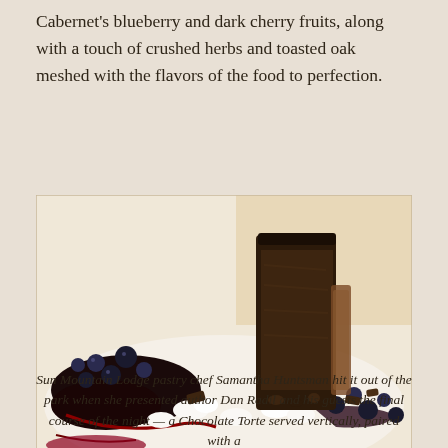Cabernet's blueberry and dark cherry fruits, along with a touch of crushed herbs and toasted oak meshed with the flavors of the food to perfection.
[Figure (photo): A plated chocolate torte served vertically, surrounded by blueberries, whipped cream, and dark berry sauce on a white plate.]
Sun Mountain Lodge pastry chef Samantha Huntsman hit it out of the park when she presented author Dan Radil and his guests the final course of the night — a Chocolate Torte served vertically, paired with a